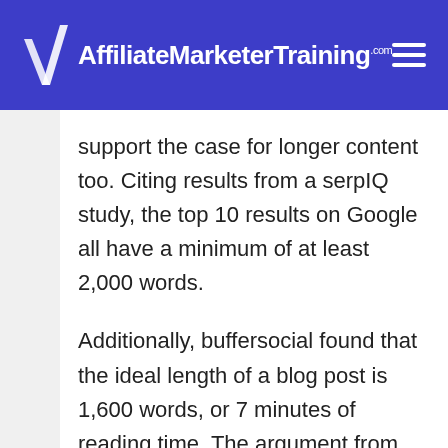AffiliateMarketerTraining.com
support the case for longer content too. Citing results from a serpIQ study, the top 10 results on Google all have a minimum of at least 2,000 words.
Additionally, buffersocial found that the ideal length of a blog post is 1,600 words, or 7 minutes of reading time. The argument from buffersocial is supported by data from a Medium.com analysis of blog posts. The study focused not on the number of clicks that content received